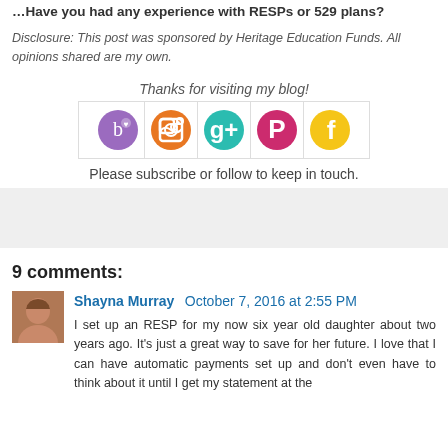Have you had any experience with RESPs or 529 plans?
Disclosure: This post was sponsored by Heritage Education Funds. All opinions shared are my own.
Thanks for visiting my blog!
[Figure (infographic): Five social media icon circles: BlogLovin (purple), RSS (orange), Google+ (teal/cyan), Pinterest (pink/red), Facebook (yellow), displayed in a bordered row]
Please subscribe or follow to keep in touch.
[Figure (other): Gray advertisement or widget box]
9 comments:
Shayna Murray October 7, 2016 at 2:55 PM
I set up an RESP for my now six year old daughter about two years ago. It's just a great way to save for her future. I love that I can have automatic payments set up and don't even have to think about it until I get my statement at the